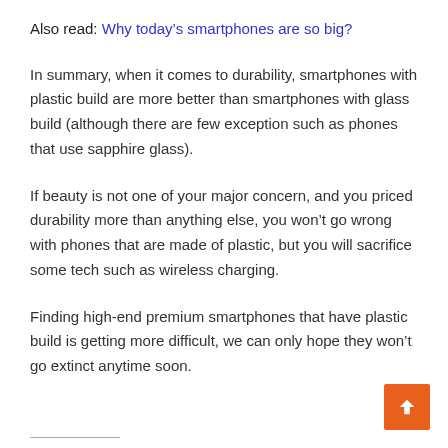Also read: Why today's smartphones are so big?
In summary, when it comes to durability, smartphones with plastic build are more better than smartphones with glass build (although there are few exception such as phones that use sapphire glass).
If beauty is not one of your major concern, and you priced durability more than anything else, you won't go wrong with phones that are made of plastic, but you will sacrifice some tech such as wireless charging.
Finding high-end premium smartphones that have plastic build is getting more difficult, we can only hope they won't go extinct anytime soon.